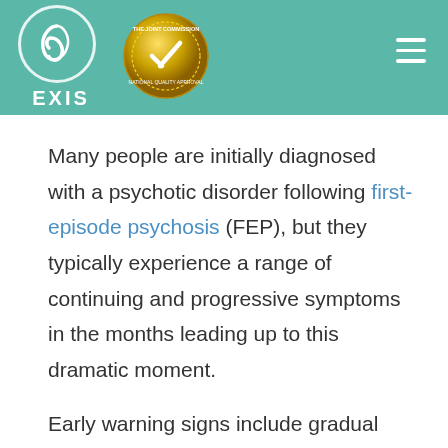[Figure (logo): EXIS logo with white leaf/spiral emblem in a circle, text EXIS below, and The Joint Commission National Quality Approval gold seal badge beside it, on a teal header background with hamburger menu icon top right]
Many people are initially diagnosed with a psychotic disorder following first-episode psychosis (FEP), but they typically experience a range of continuing and progressive symptoms in the months leading up to this dramatic moment.
Early warning signs include gradual changes in a person's thoughts, feelings, or behaviors that can make it difficult for them to concentrate,